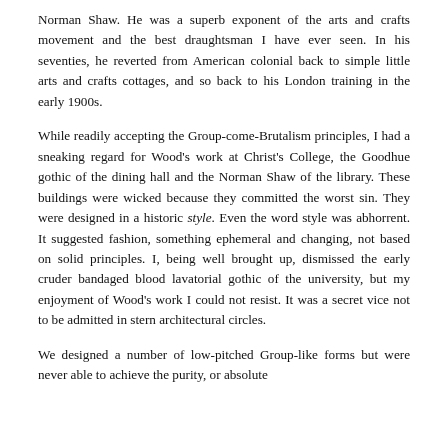Norman Shaw. He was a superb exponent of the arts and crafts movement and the best draughtsman I have ever seen. In his seventies, he reverted from American colonial back to simple little arts and crafts cottages, and so back to his London training in the early 1900s.
While readily accepting the Group-come-Brutalism principles, I had a sneaking regard for Wood's work at Christ's College, the Goodhue gothic of the dining hall and the Norman Shaw of the library. These buildings were wicked because they committed the worst sin. They were designed in a historic style. Even the word style was abhorrent. It suggested fashion, something ephemeral and changing, not based on solid principles. I, being well brought up, dismissed the early cruder bandaged blood lavatorial gothic of the university, but my enjoyment of Wood's work I could not resist. It was a secret vice not to be admitted in stern architectural circles.
We designed a number of low-pitched Group-like forms but were never able to achieve the purity or absolute